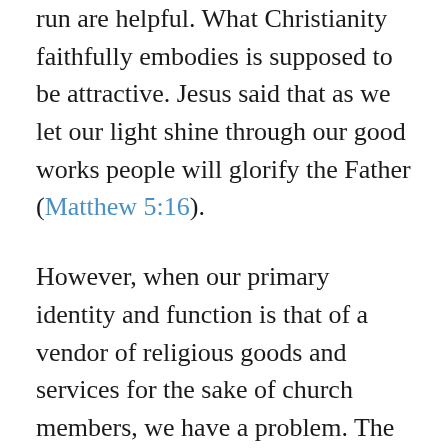run are helpful. What Christianity faithfully embodies is supposed to be attractive. Jesus said that as we let our light shine through our good works people will glorify the Father (Matthew 5:16).
However, when our primary identity and function is that of a vendor of religious goods and services for the sake of church members, we have a problem. The Pew Research statistics show most people search for a church which has good preaching, attractive worship style, welcoming leaders and effective programs rather than a place where discipleship for the sake of others is practiced. This shows that the false narrative